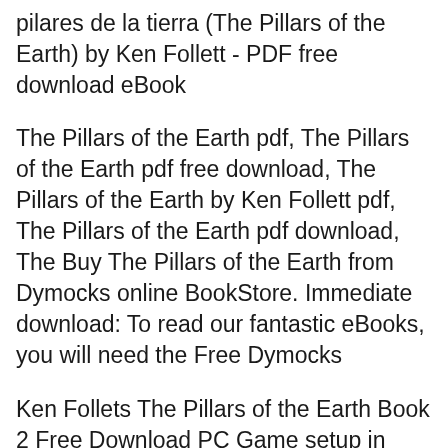pilares de la tierra (The Pillars of the Earth) by Ken Follett - PDF free download eBook
The Pillars of the Earth pdf, The Pillars of the Earth pdf free download, The Pillars of the Earth by Ken Follett pdf, The Pillars of the Earth pdf download, The Buy The Pillars of the Earth from Dymocks online BookStore. Immediate download: To read our fantastic eBooks, you will need the Free Dymocks
Ken Follets The Pillars of the Earth Book 2 Free Download PC Game setup in single direct link for Windows. It is an amazing adventure game. OceanOfGames, Ocean Of Ken Follets